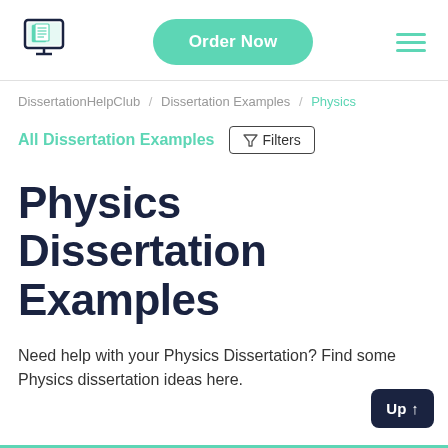[Figure (logo): DissertationHelpClub logo: monitor/screen icon with document pages, teal color scheme]
[Figure (other): Order Now button - teal rounded pill button]
[Figure (other): Hamburger menu icon - three teal horizontal lines]
DissertationHelpClub / Dissertation Examples / Physics
All Dissertation Examples
Filters
Physics Dissertation Examples
Need help with your Physics Dissertation? Find some Physics dissertation ideas here.
Up ↑